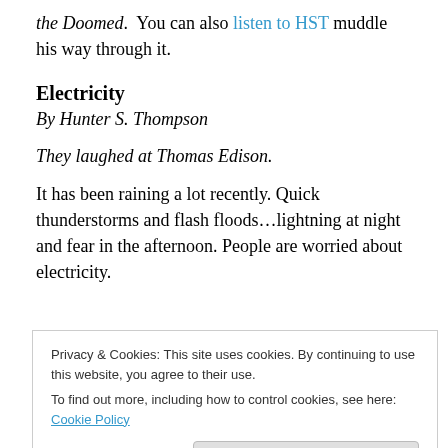the Doomed. You can also listen to HST muddle his way through it.
Electricity
By Hunter S. Thompson
They laughed at Thomas Edison.
It has been raining a lot recently. Quick thunderstorms and flash floods…lightning at night and fear in the afternoon. People are worried about electricity.
Privacy & Cookies: This site uses cookies. By continuing to use this website, you agree to their use.
To find out more, including how to control cookies, see here: Cookie Policy
pulse. Crime is rampant and even children are losing their